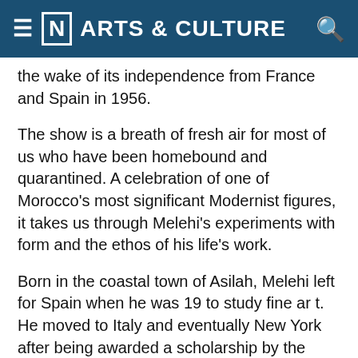≡ [N] ARTS & CULTURE
the wake of its independence from France and Spain in 1956.
The show is a breath of fresh air for most of us who have been homebound and quarantined. A celebration of one of Morocco's most significant Modernist figures, it takes us through Melehi's experiments with form and the ethos of his life's work.
Born in the coastal town of Asilah, Melehi left for Spain when he was 19 to study fine art. He moved to Italy and eventually New York after being awarded a scholarship by the Rockefeller Foundation. Throughout his career, which spans more than half a century, he has filled